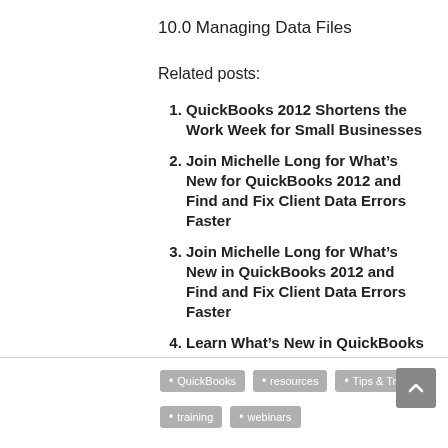10.0 Managing Data Files
Related posts:
QuickBooks 2012 Shortens the Work Week for Small Businesses
Join Michelle Long for What’s New for QuickBooks 2012 and Find and Fix Client Data Errors Faster
Join Michelle Long for What’s New in QuickBooks 2012 and Find and Fix Client Data Errors Faster
Learn What’s New in QuickBooks 2012
Free QuickBooks Training Videos and Webinars
QuickBooks • resources • Tips & Tricks • training • webinars